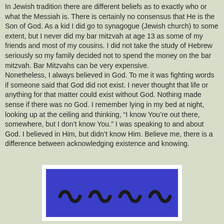In Jewish tradition there are different beliefs as to exactly who or what the Messiah is. There is certainly no consensus that He is the Son of God. As a kid I did go to synagogue (Jewish church) to some extent, but I never did my bar mitzvah at age 13 as some of my friends and most of my cousins. I did not take the study of Hebrew seriously so my family decided not to spend the money on the bar mitzvah. Bar Mitzvahs can be very expensive.
Nonetheless, I always believed in God. To me it was fighting words if someone said that God did not exist. I never thought that life or anything for that matter could exist without God. Nothing made sense if there was no God. I remember lying in my bed at night, looking up at the ceiling and thinking, “I know You’re out there, somewhere, but I don’t know You.” I was speaking to and about God. I believed in Him, but didn’t know Him. Believe me, there is a difference between acknowledging existence and knowing.
[Figure (illustration): A rectangular image with a blue background containing four dark wave/tilde symbols (~) evenly spaced horizontally, set within a white border.]